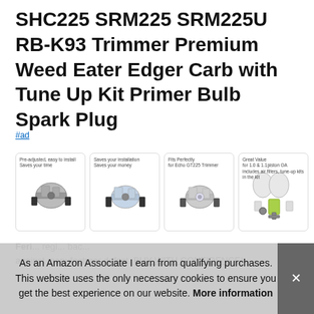SHC225 SRM225 SRM225U RB-K93 Trimmer Premium Weed Eater Edger Carb with Tune Up Kit Primer Bulb Spark Plug
#ad
[Figure (photo): Four product images showing carburetor parts with labels: 'Pre-adjusted, easy to install Saves your time', 'Saves your installation Saves your money', 'Fits Perfectly for Echo GT225 Trimmer', 'Great Value for 1.0 & 1.1piston OA includes air filters, tune-up kits in the kit']
Feri... registers... back...
As an Amazon Associate I earn from qualifying purchases. This website uses the only necessary cookies to ensure you get the best experience on our website. More information